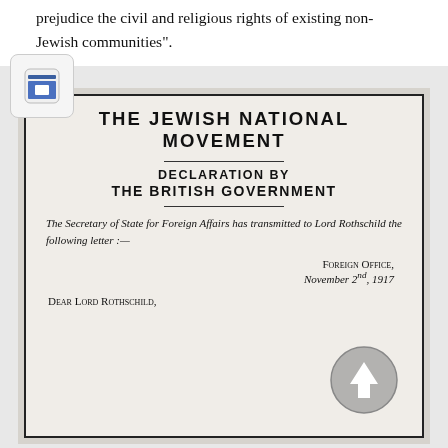prejudice the civil and religious rights of existing non-Jewish communities".
[Figure (other): Archive/document icon — a box with a document inside, blue and white, rounded rectangle border]
[Figure (photo): Scanned historical document titled 'The Jewish National Movement — Declaration by The British Government'. Contains italic text: 'The Secretary of State for Foreign Affairs has transmitted to Lord Rothschild the following letter:—' followed by 'Foreign Office, November 2nd, 1917' and 'Dear Lord Rothschild,']